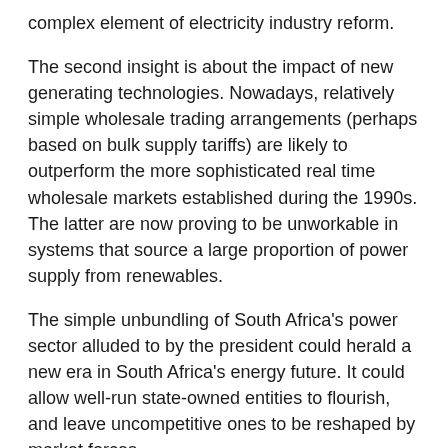complex element of electricity industry reform.
The second insight is about the impact of new generating technologies. Nowadays, relatively simple wholesale trading arrangements (perhaps based on bulk supply tariffs) are likely to outperform the more sophisticated real time wholesale markets established during the 1990s. The latter are now proving to be unworkable in systems that source a large proportion of power supply from renewables.
The simple unbundling of South Africa's power sector alluded to by the president could herald a new era in South Africa's energy future. It could allow well-run state-owned entities to flourish, and leave uncompetitive ones to be reshaped by market forces.
For example, underperforming or ageing power stations might be let under concession arrangements with private operators. Roughly speaking, long term leases containing a set of defined operational requirements would be agreed with the operator. The power station would remain under state ownership. This would provide a cash inflow to